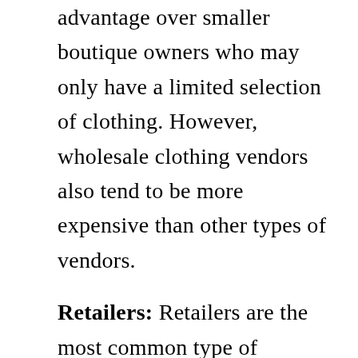advantage over smaller boutique owners who may only have a limited selection of clothing. However, wholesale clothing vendors also tend to be more expensive than other types of vendors.
Retailers: Retailers are the most common type of clothing vendor for small businesses. They typically carry a limited selection of items, but they offer a high quality product at a lower price than wholesale clothing vendors. Additionally, retailers often have the ability to personalize garments, which can be beneficial for boutique owners who want to make their clothes unique.